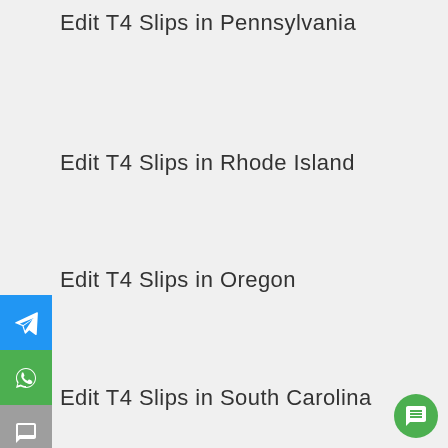Edit T4 Slips in Pennsylvania
Edit T4 Slips in Rhode Island
Edit T4 Slips in Oregon
Edit T4 Slips in South Carolina